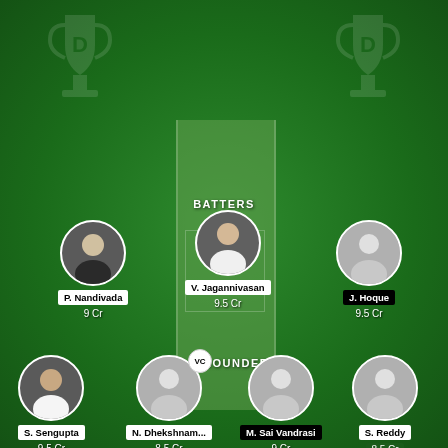[Figure (infographic): Fantasy cricket team selection screen showing a green cricket field with two trophy watermarks. Three batters shown at top (P. Nandivada 9 Cr, V. Jagannivasan 9.5 Cr, J. Hoque 9.5 Cr) and four all-rounders at bottom (S. Sengupta 9.5 Cr, N. Dhekshnam... 8.5 Cr with VC badge, M. Sai Vandrasi 9 Cr, S. Reddy 8.5 Cr). Section labels BATTERS and ALL-ROUNDERS shown on green pitch.]